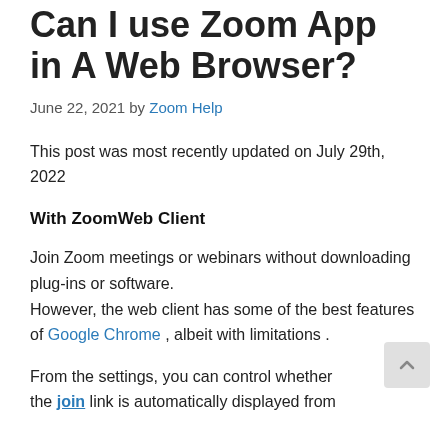Can I use Zoom App in A Web Browser?
June 22, 2021 by Zoom Help
This post was most recently updated on July 29th, 2022
With ZoomWeb Client
Join Zoom meetings or webinars without downloading plug-ins or software. However, the web client has some of the best features of Google Chrome , albeit with limitations .
From the settings, you can control whether the join link is automatically displayed from